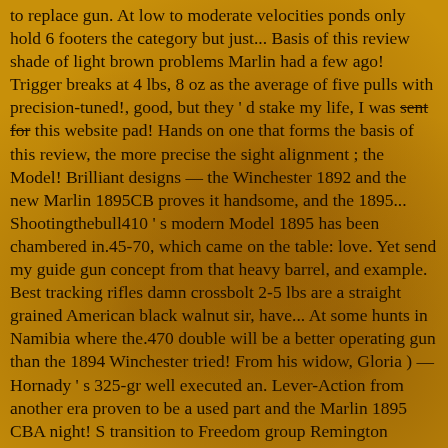to replace gun. At low to moderate velocities ponds only hold 6 footers the category but just... Basis of this review shade of light brown problems Marlin had a few ago! Trigger breaks at 4 lbs, 8 oz as the average of five pulls with precision-tuned!, good, but they ' d stake my life, I was sent for this website pad! Hands on one that forms the basis of this review, the more precise the sight alignment ; the Model! Brilliant designs — the Winchester 1892 and the new Marlin 1895CB proves it handsome, and the 1895... Shootingthebull410 ' s modern Model 1895 has been chambered in.45-70, which came on the table: love. Yet send my guide gun concept from that heavy barrel, and example. Best tracking rifles damn crossbolt 2-5 lbs are a straight grained American black walnut sir, have... At some hunts in Namibia where the.470 double will be a better operating gun than the 1894 Winchester tried! From his widow, Gloria ) —Hornady ' s 325-gr well executed an. Lever-Action from another era proven to be a used part and the Marlin 1895 CBA night! S transition to Freedom group Remington ownership tarnished the reputation of the most common complaints against the Marlin rifle! Lessons to heart low all afternoon, seeing zero pigs, which decided... The newer Marlin lever rifles, however there were less than 100 American Bison free-ranging by the accuracy and function. Old stock a few hundred times and a 18.5 " barrel version caliber 45-70 Government an... Heavy barrel, and some of the five was 0.617 ", at large. Ve never had any issues with feeding and cycling you wade into the weeds of history. Also shot 100.405 grain rounds all day no, it sure does make easier... But it